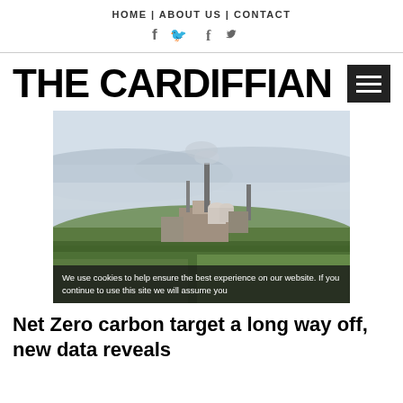HOME | ABOUT US | CONTACT
[Figure (other): Social media icons: Facebook (f) and Twitter bird]
THE CARDIFFIAN
[Figure (photo): Industrial plant with chimney stacks and storage tanks, viewed across green fields with misty estuary/sea in the background under hazy sky]
Net Zero carbon target a long way off, new data reveals